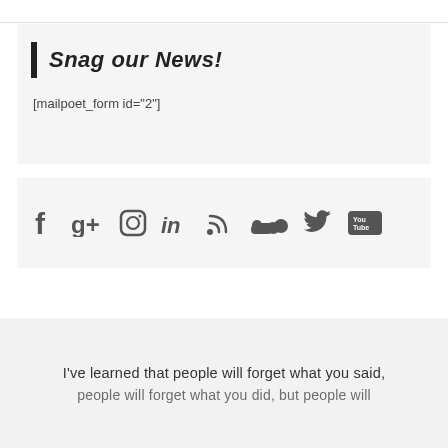Snag our News!
[mailpoet_form id="2"]
[Figure (other): Row of social media icons: Facebook, Google+, Instagram, LinkedIn, RSS feed, SoundCloud, Twitter, YouTube]
I've learned that people will forget what you said,